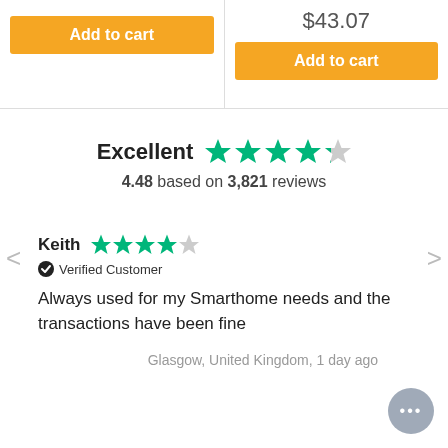$43.07
Add to cart
Add to cart
Excellent 4.48 based on 3,821 reviews
Keith - 4 stars - Verified Customer
Always used for my Smarthome needs and the transactions have been fine
Glasgow, United Kingdom, 1 day ago